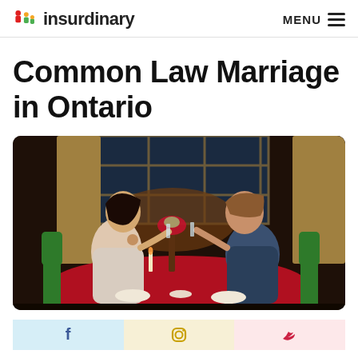insurdinary  MENU
Common Law Marriage in Ontario
[Figure (photo): A couple sharing a romantic candlelit dinner indoors, clinking glasses, with red roses and candles on a table covered with a red tablecloth, in front of large windows at night.]
[Figure (infographic): Social media sharing strip with Facebook, Instagram, and Twitter icons on pastel-colored backgrounds (blue, yellow, pink).]